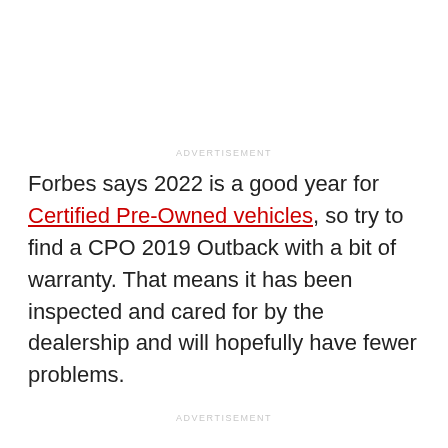ADVERTISEMENT
Forbes says 2022 is a good year for Certified Pre-Owned vehicles, so try to find a CPO 2019 Outback with a bit of warranty. That means it has been inspected and cared for by the dealership and will hopefully have fewer problems.
ADVERTISEMENT